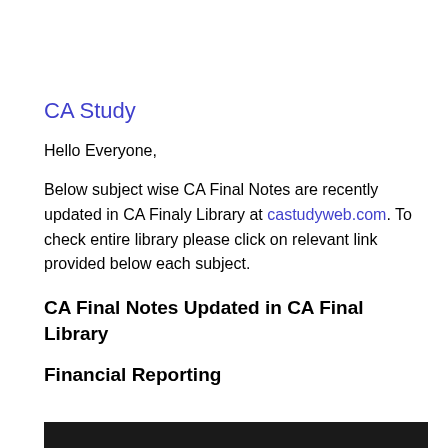CA Study
Hello Everyone,
Below subject wise CA Final Notes are recently updated in CA Finaly Library at castudyweb.com. To check entire library please click on relevant link provided below each subject.
CA Final Notes Updated in CA Final Library
Financial Reporting